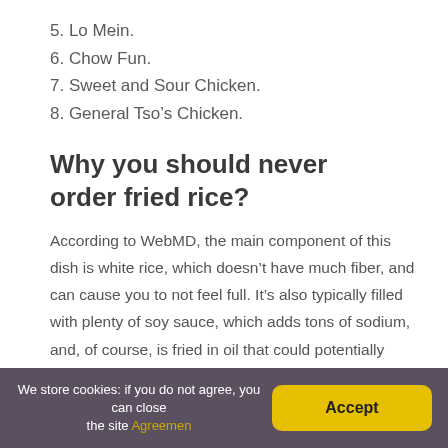5. Lo Mein.
6. Chow Fun.
7. Sweet and Sour Chicken.
8. General Tso’s Chicken.
Why you should never order fried rice?
According to WebMD, the main component of this dish is white rice, which doesn’t have much fiber, and can cause you to not feel full. It’s also typically filled with plenty of soy sauce, which adds tons of sodium, and, of course, is fried in oil that could potentially cause you to pack on the pounds.
We store cookies: if you do not agree, you can close the site Agreemen	Accept